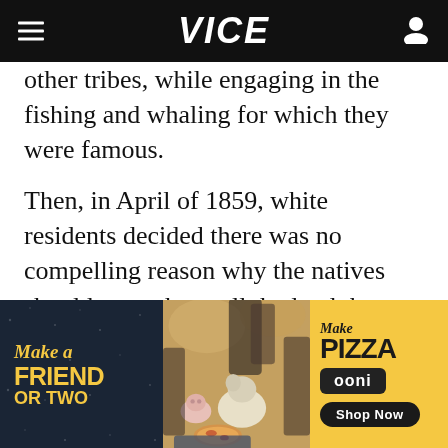VICE
other tribes, while engaging in the fishing and whaling for which they were famous.
Then, in April of 1859, white residents decided there was no compelling reason why the natives should get to keep all the land that was legally promised to them. So they concocted a transparently bogus “agreement” in which the Shinnecock leaders inexplicably consented to
[Figure (photo): Advertisement banner for Ooni pizza oven featuring text 'Make a Friend or Two' on dark background on left, center photo of people and a dog at a picnic with pizza, and right side yellow background with 'Make Pizza', 'ooni' logo, and 'Shop Now' button.]